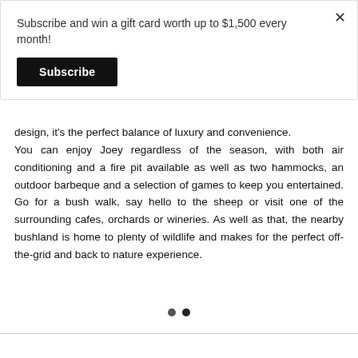Subscribe and win a gift card worth up to $1,500 every month!
Subscribe
design, it's the perfect balance of luxury and convenience. You can enjoy Joey regardless of the season, with both air conditioning and a fire pit available as well as two hammocks, an outdoor barbeque and a selection of games to keep you entertained. Go for a bush walk, say hello to the sheep or visit one of the surrounding cafes, orchards or wineries. As well as that, the nearby bushland is home to plenty of wildlife and makes for the perfect off-the-grid and back to nature experience.